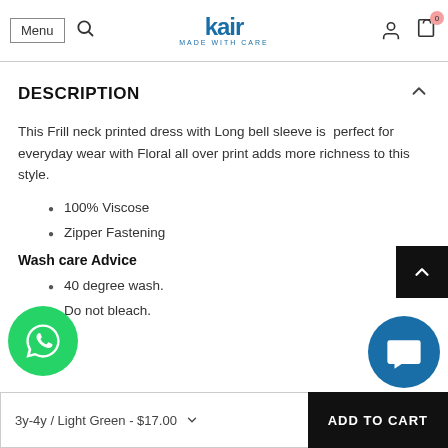Menu | Search | kair MADE WITH CARE | Account | Cart (0)
DESCRIPTION
This Frill neck printed dress with Long bell sleeve is perfect for everyday wear with Floral all over print adds more richness to this style.
100% Viscose
Zipper Fastening
Wash care Advice
40 degree wash.
Do not bleach.